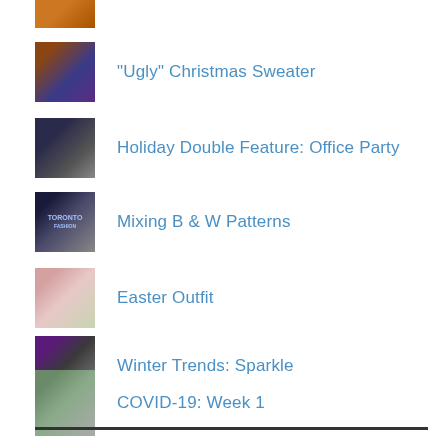[Figure (photo): Thumbnail photo at top, partial clothing/person]
"Ugly" Christmas Sweater
Holiday Double Feature: Office Party
Mixing B & W Patterns
Easter Outfit
Winter Trends: Sparkle
COVID-19: Week 1